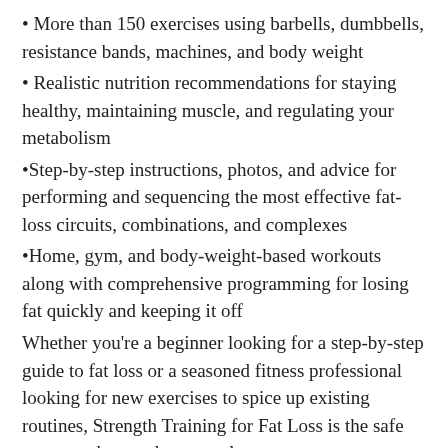• More than 150 exercises using barbells, dumbbells, resistance bands, machines, and body weight
• Realistic nutrition recommendations for staying healthy, maintaining muscle, and regulating your metabolism
•Step-by-step instructions, photos, and advice for performing and sequencing the most effective fat-loss circuits, combinations, and complexes
•Home, gym, and body-weight-based workouts along with comprehensive programming for losing fat quickly and keeping it off
Whether you're a beginner looking for a step-by-step guide to fat loss or a seasoned fitness professional looking for new exercises to spice up existing routines, Strength Training for Fat Loss is the safe program that produces results.